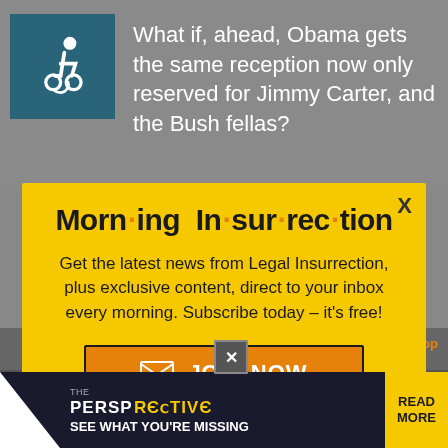What if, ahead, Obama gets the same reception now only reserved for Jimmy Carter, and the Bush fellas?
[Figure (infographic): Yellow modal popup overlay with 'Morning Insurrection' newsletter signup. Contains title text, body text, and orange JOIN NOW button.]
sounds they reco... As Professor Jacobson reports at Legal Insurrection... few years back supporting something
[Figure (infographic): Bottom banner ad: THE PERSPECTIVE - SEE WHAT YOU'RE MISSING - READ MORE]